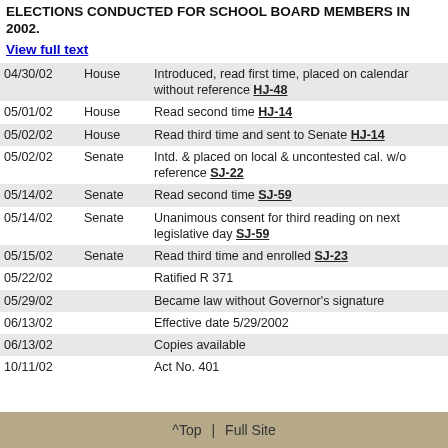ELECTIONS CONDUCTED FOR SCHOOL BOARD MEMBERS IN 2002.
View full text
| Date | Chamber | Action |
| --- | --- | --- |
| 04/30/02 | House | Introduced, read first time, placed on calendar without reference HJ-48 |
| 05/01/02 | House | Read second time HJ-14 |
| 05/02/02 | House | Read third time and sent to Senate HJ-14 |
| 05/02/02 | Senate | Intd. & placed on local & uncontested cal. w/o reference SJ-22 |
| 05/14/02 | Senate | Read second time SJ-59 |
| 05/14/02 | Senate | Unanimous consent for third reading on next legislative day SJ-59 |
| 05/15/02 | Senate | Read third time and enrolled SJ-23 |
| 05/22/02 |  | Ratified R 371 |
| 05/29/02 |  | Became law without Governor's signature |
| 06/13/02 |  | Effective date 5/29/2002 |
| 06/13/02 |  | Copies available |
| 10/11/02 |  | Act No. 401 |
^Top | Full Site